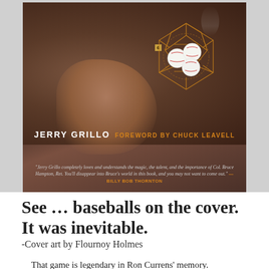[Figure (photo): Book cover showing a person in a brownish shirt holding what appears to be a cigar, with a geometric dodecahedron shape containing baseballs overlaid, smoke wisps, and a money tag. Author credit reads JERRY GRILLO with FOREWORD BY CHUCK LEAVELL in orange. A quote from Billy Bob Thornton appears at the bottom of the cover.]
See … baseballs on the cover. It was inevitable.
-Cover art by Flournoy Holmes
That game is legendary in Ron Currens' memory.